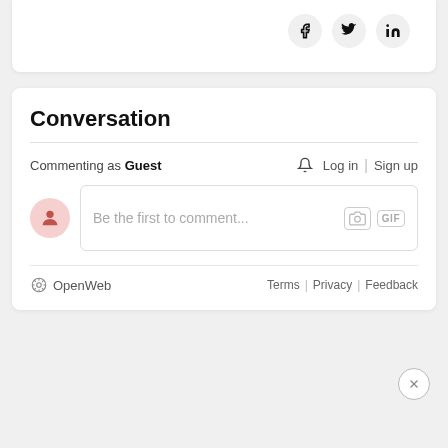[Figure (screenshot): Top white card with social sharing icons for Facebook, Twitter, LinkedIn]
Conversation
Commenting as Guest
Log in | Sign up
Be the first to comment...
OpenWeb   Terms | Privacy | Feedback